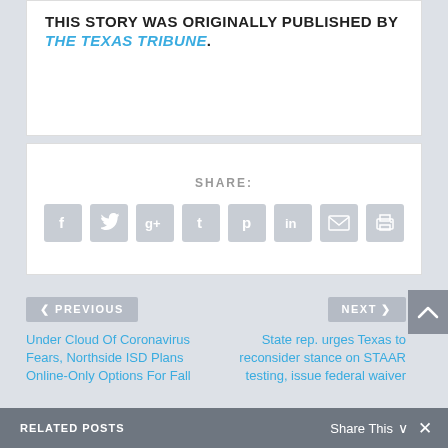THIS STORY WAS ORIGINALLY PUBLISHED BY THE TEXAS TRIBUNE.
SHARE:
[Figure (infographic): Row of 8 social share icon buttons: Facebook, Twitter, Google+, Tumblr, Pinterest, LinkedIn, Email, Print — all gray rounded squares with white icons]
< PREVIOUS
Under Cloud Of Coronavirus Fears, Northside ISD Plans Online-Only Options For Fall
NEXT >
State rep. urges Texas to reconsider stance on STAAR testing, issue federal waiver
RELATED POSTS
Share This ∨
✕